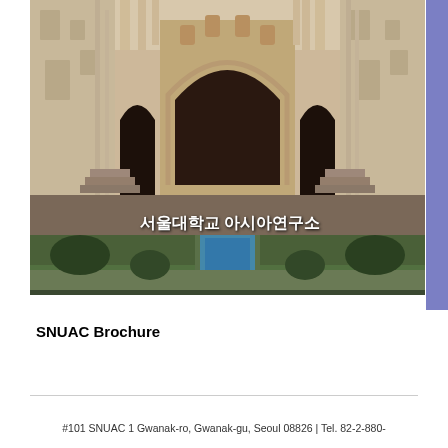[Figure (photo): Photograph of a Mughal-style architectural monument with a large arched gateway, ornate facade, and formal garden with water channel in the foreground. Korean text overlay reading '서울대학교 아시아연구소' is visible on the image.]
SNUAC Brochure
#101 SNUAC 1 Gwanak-ro, Gwanak-gu, Seoul 08826 | Tel. 82-2-880-